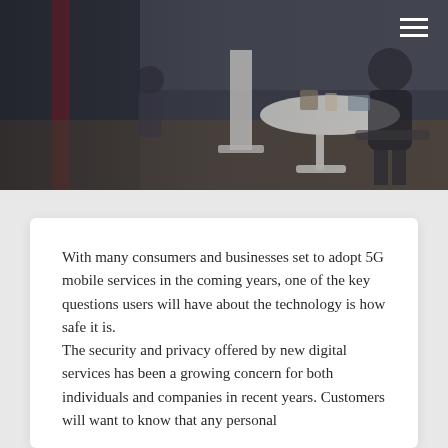[Figure (photo): Office scene showing people working at tables in a modern workspace. Dark-tinted photo with warm lighting. Hamburger menu icon in top-right corner.]
With many consumers and businesses set to adopt 5G mobile services in the coming years, one of the key questions users will have about the technology is how safe it is.
The security and privacy offered by new digital services has been a growing concern for both individuals and companies in recent years. Customers will want to know that any personal